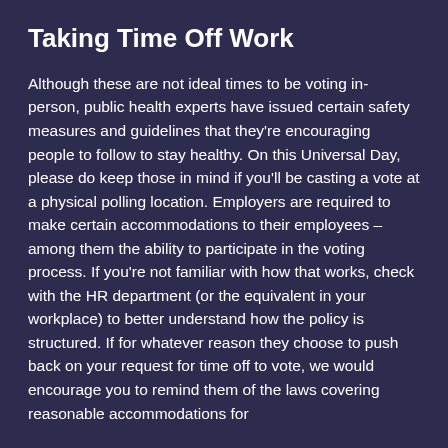Taking Time Off Work
Although these are not ideal times to be voting in-person, public health experts have issued certain safety measures and guidelines that they're encouraging people to follow to stay healthy. On this Universal Day, please do keep those in mind if you'll be casting a vote at a physical polling location. Employers are required to make certain accommodations to their employees – among them the ability to participate in the voting process. If you're not familiar with how that works, check with the HR department (or the equivalent in your workplace) to better understand how the policy is structured. If for whatever reason they choose to push back on your request for time off to vote, we would encourage you to remind them of the laws covering reasonable accommodations for